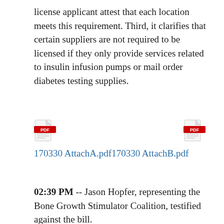license applicant attest that each location meets this requirement. Third, it clarifies that certain suppliers are not required to be licensed if they only provide services related to insulin infusion pumps or mail order diabetes testing supplies.
[Figure (other): Two PDF file icons side by side representing attachments: 170330 AttachA.pdf and 170330 AttachB.pdf]
170330 AttachA.pdf170330 AttachB.pdf
02:39 PM -- Jason Hopfer, representing the Bone Growth Stimulator Coalition, testified against the bill.